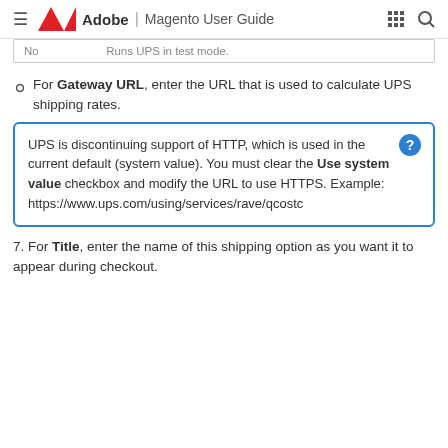Adobe | Magento User Guide
| No | Runs UPS in test mode. |
For Gateway URL, enter the URL that is used to calculate UPS shipping rates.
UPS is discontinuing support of HTTP, which is used in the current default (system value). You must clear the Use system value checkbox and modify the URL to use HTTPS. Example: https://www.ups.com/using/services/rave/qcostc
7. For Title, enter the name of this shipping option as you want it to appear during checkout.